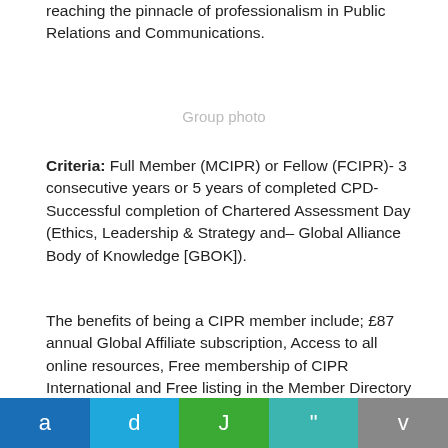reaching the pinnacle of professionalism in Public Relations and Communications.
Group photo
Criteria: Full Member (MCIPR) or Fellow (FCIPR)- 3 consecutive years or 5 years of completed CPD- Successful completion of Chartered Assessment Day (Ethics, Leadership & Strategy and– Global Alliance Body of Knowledge [GBOK]).
The benefits of being a CIPR member include; £87 annual Global Affiliate subscription, Access to all online resources, Free membership of CIPR International and Free listing in the Member Directory and the PR Register.
a d J " v